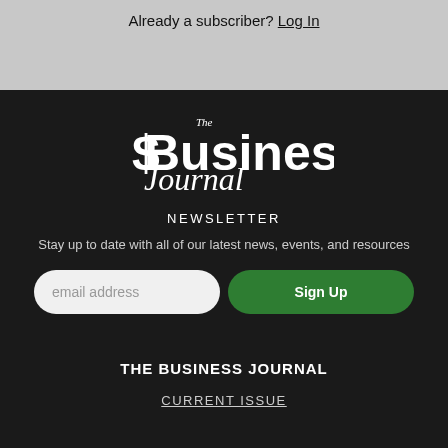Already a subscriber? Log In
[Figure (logo): The Business Journal logo in white on dark background]
NEWSLETTER
Stay up to date with all of our latest news, events, and resources
email address  Sign Up
THE BUSINESS JOURNAL
CURRENT ISSUE